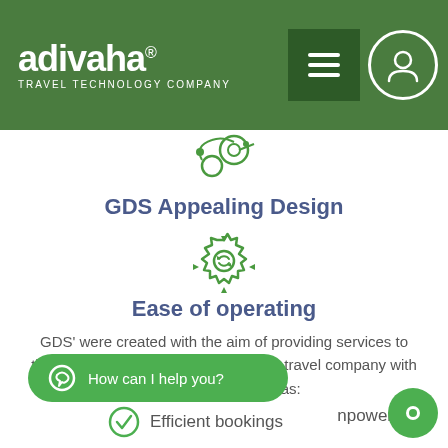adivaha® TRAVEL TECHNOLOGY COMPANY
[Figure (logo): Adivaha travel technology company logo with green background, hamburger menu icon and user icon]
GDS Appealing Design
[Figure (illustration): Green gear/settings icon with refresh arrows]
Ease of operating
GDS' were created with the aim of providing services to the entire travel industry. It provides a travel company with many benefits such as:
...npower
Efficient bookings